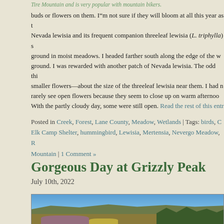Tire Mountain and is very popular with mountain bikers.
umpqua
buds or flowers on them. I“m not sure if they will bloom at all this year as t... Nevada lewisia and its frequent companion threeleaf lewisia (L. triphylla) s... ground in moist meadows. I headed farther south along the edge of the w... ground. I was rewarded with another patch of Nevada lewisia. The odd thi... smaller flowers—about the size of the threeleaf lewisia near them. I had n... rarely see open flowers because they seem to close up on warm afternoo... With the partly cloudy day, some were still open. Read the rest of this entr...
Posted in Creek, Forest, Lane County, Meadow, Wetlands | Tags: birds, C... Elk Camp Shelter, hummingbird, Lewisia, Mertensia, Nevergo Meadow, R... Mountain | 1 Comment »
Gorgeous Day at Grizzly Peak
July 10th, 2022
[Figure (photo): Outdoor landscape photo showing Grizzly Peak with rocky ridge, conifer trees, blue sky, and wildflowers including purple and yellow flowers in the foreground.]